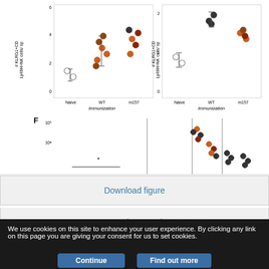[Figure (scatter-plot): Scientific scatter plots showing KLRG1+CD/Ly49H+NK cells/sp data (top two panels) and pfu/g of liver data (bottom panel, labeled F) across Naive, WT, and m157 immunization groups, with CC006 and B6 host mice and IgG vs αNK1.1 pre-infection depletion conditions. Data points shown as open circles, filled orange/red, and filled black circles.]
Download figure
Open in new tab
We use cookies on this site to enhance your user experience. By clicking any link on this page you are giving your consent for us to set cookies.
Continue
Find out more